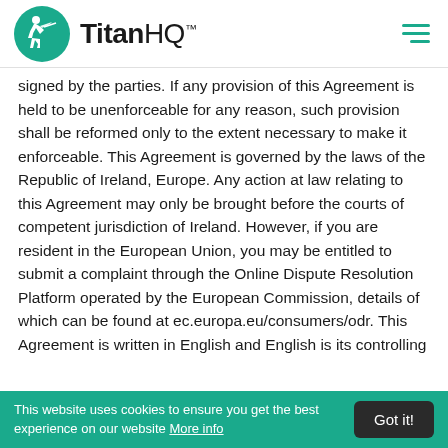[Figure (logo): TitanHQ logo: teal circle with archer figure, bold text 'TitanHQ' with trademark symbol, and teal hamburger menu icon on the right]
signed by the parties. If any provision of this Agreement is held to be unenforceable for any reason, such provision shall be reformed only to the extent necessary to make it enforceable. This Agreement is governed by the laws of the Republic of Ireland, Europe. Any action at law relating to this Agreement may only be brought before the courts of competent jurisdiction of Ireland. However, if you are resident in the European Union, you may be entitled to submit a complaint through the Online Dispute Resolution Platform operated by the European Commission, details of which can be found at ec.europa.eu/consumers/odr. This Agreement is written in English and English is its controlling
This website uses cookies to ensure you get the best experience on our website More info